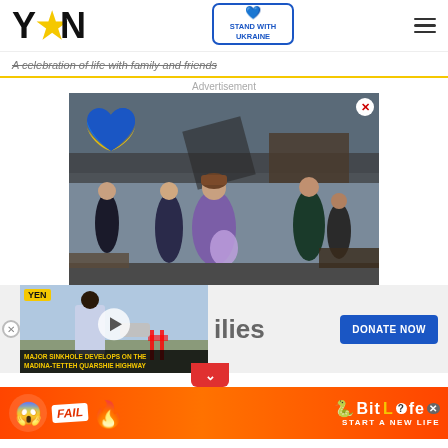[Figure (logo): YEN logo with star in yellow]
[Figure (infographic): Stand with Ukraine badge with blue heart]
A celebration of life with family and friends
Advertisement
[Figure (photo): Ukraine war scene — woman carrying baby across destroyed bridge, Ukrainian flag heart overlay, close button]
[Figure (screenshot): YEN video player thumbnail: reporter on street, play button, label 'MAJOR SINKHOLE DEVELOPS ON THE MADINA-TETTEH QUARSHIE HIGHWAY']
ilies
[Figure (infographic): DONATE NOW blue button]
[Figure (infographic): BitLife bottom banner: FAIL cartoon, snake icon, BitLife logo, START A NEW LIFE text]